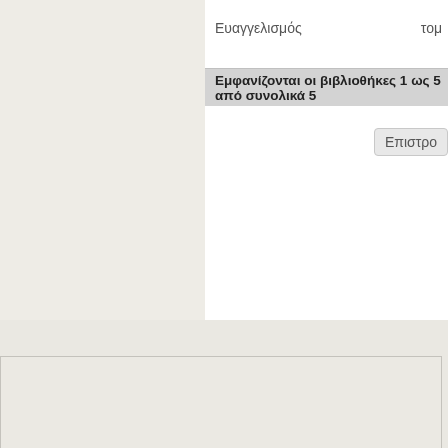Ευαγγελισμός
τομ…
Εμφανίζονται οι βιβλιοθήκες 1 ως 5 από συνολικά 5
Επιστρο…